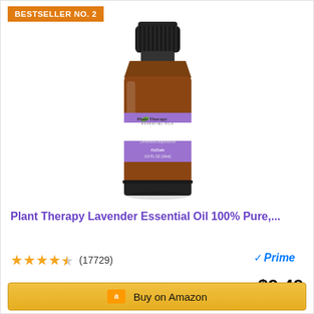BESTSELLER NO. 2
[Figure (photo): Plant Therapy Lavender Essential Oil bottle, amber glass with purple label, black cap, 10ml]
Plant Therapy Lavender Essential Oil 100% Pure,...
★★★★½ (17729)
Prime
$9.49
Buy on Amazon